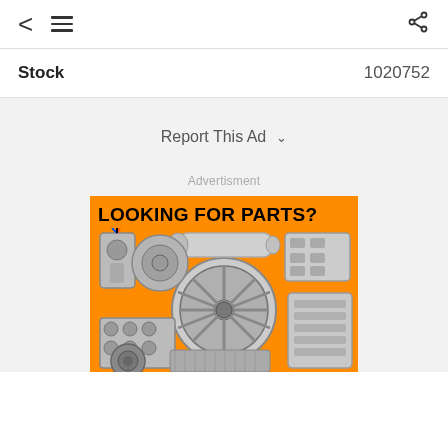< ≡  [share]
Stock   1020752
Report This Ad ∨
Advertisment
[Figure (illustration): Orange advertisement banner reading 'LOOKING FOR PARTS?' with images of various automotive parts including a wheel, cylinder head, intake manifold, valve covers, distributor, alternator, muffler, and radiator on an orange background.]